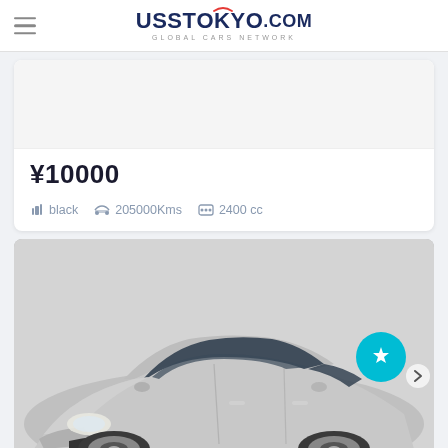UssTokyo.com GLOBAL CARS NETWORK
¥10000
black   205000Kms   2400 cc
[Figure (photo): Silver Toyota Yaris hatchback car shown from front three-quarter angle in a showroom/garage setting]